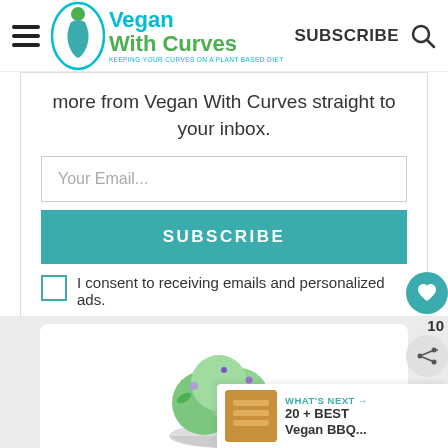[Figure (logo): Vegan With Curves logo with oval figure and green/teal text. Tagline: KEEPING YOUR CURVES ON A PLANT BASED DIET]
SUBSCRIBE
more from Vegan With Curves straight to your inbox.
Your Email...
SUBSCRIBE
I consent to receiving emails and personalized ads.
[Figure (photo): Green ice cream scoops in a glass bowl with small purple flowers and mint leaves, on a white background]
10
WHAT'S NEXT → 20 + BEST Vegan BBQ...